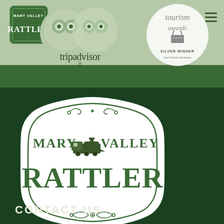[Figure (logo): Mary Valley Rattler badge logo (small, top-left), TripAdvisor logo, Tourism Awards silver winner badge, and hamburger menu icon in light green header banner]
[Figure (logo): Mary Valley Rattler main logo in decorative frame with vintage train illustration on dark green background]
CONTACT US